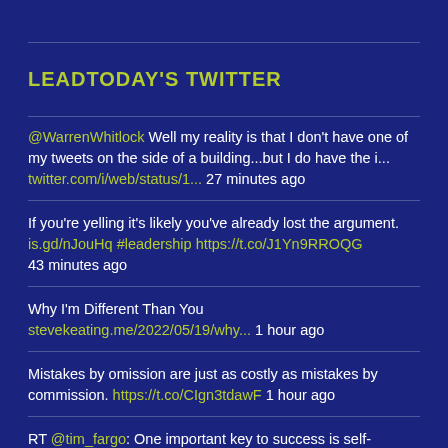LEADTODAY'S TWITTER
@WarrenWhitlock Well my reality is that I don't have one of my tweets on the side of a building...but I do have the i... twitter.com/i/web/status/1... 27 minutes ago
If you're yelling it's likely you've already lost the argument. is.gd/nJouHq #leadership https://t.co/J1Yn9RROQG 43 minutes ago
Why I'm Different Than You stevekeating.me/2022/05/19/why... 1 hour ago
Mistakes by omission are just as costly as mistakes by commission. https://t.co/CIgn3tdawF 1 hour ago
RT @tim_fargo: One important key to success is self-